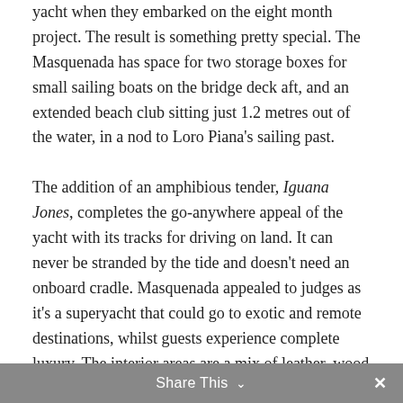yacht when they embarked on the eight month project. The result is something pretty special. The Masquenada has space for two storage boxes for small sailing boats on the bridge deck aft, and an extended beach club sitting just 1.2 metres out of the water, in a nod to Loro Piana's sailing past.
The addition of an amphibious tender, Iguana Jones, completes the go-anywhere appeal of the yacht with its tracks for driving on land. It can never be stranded by the tide and doesn't need an onboard cradle. Masquenada appealed to judges as it's a superyacht that could go to exotic and remote destinations, whilst guests experience complete luxury. The interior areas are a mix of leather, wood and quality carpet underfoot, designed by Loro Piana's wife and designer Misa Poggi.
Share This ✓  ✕